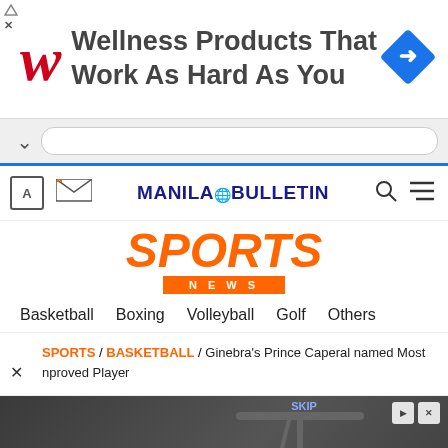[Figure (screenshot): Walgreens advertisement banner: red italic W logo on left, text 'Wellness Products That Work As Hard As You', blue diamond direction icon on right]
[Figure (screenshot): Browser navigation bar with caret/chevron up and URL input box, blue bottom border]
[Figure (logo): Manila Bulletin website navigation bar with A icon, mail icon, MANILA BULLETIN logo in dark blue, search icon, and menu icon]
SPORTS
NEWS
Basketball  Boxing  Volleyball  Golf  Others
SPORTS / BASKETBALL / Ginebra's Prince Caperal named Most Improved Player
[Figure (screenshot): Advertisement for Helbiz: dark background with scooter image, text 'Download Helbiz and ride']